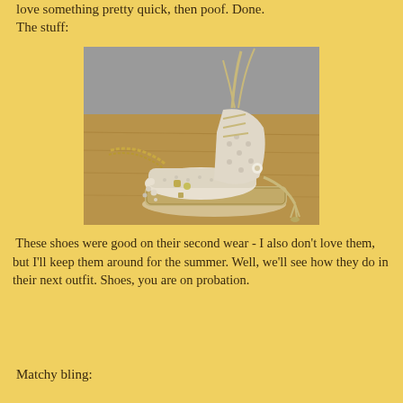love something pretty quick, then poof. Done.
The stuff:
[Figure (photo): A crochet/lace espadrille wedge sandal with ankle ties, displayed upright alongside scattered jewelry including a chain necklace, earrings, and small accessories on a wooden surface.]
These shoes were good on their second wear - I also don't love them, but I'll keep them around for the summer. Well, we'll see how they do in their next outfit. Shoes, you are on probation.
Matchy bling: